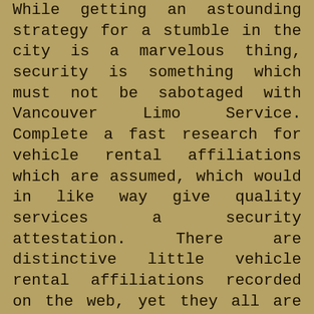While getting an astounding strategy for a stumble in the city is a marvelous thing, security is something which must not be sabotaged with Vancouver Limo Service. Complete a fast research for vehicle rental affiliations which are assumed, which would in like way give quality services a security attestation. There are distinctive little vehicle rental affiliations recorded on the web, yet they all are not dependable. Particular references: Word of mouth is incredibly fundamental. Ask your relatives or partners and they would more than likely reveal to you which vehicle rental firm offers the best services around the area. This surrey limo would help with narrowing down the solicitation and also in making the privilege holding